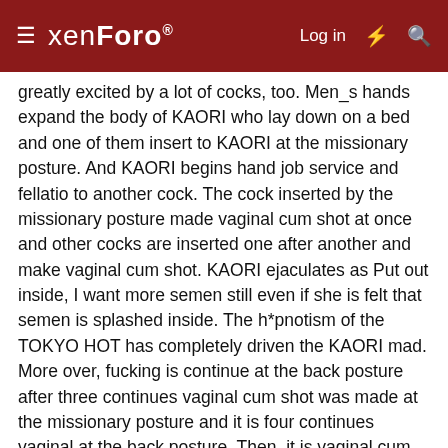xenForo — Log in
greatly excited by a lot of cocks, too. Men_s hands expand the body of KAORI who lay down on a bed and one of them insert to KAORI at the missionary posture. And KAORI begins hand job service and fellatio to another cock. The cock inserted by the missionary posture made vaginal cum shot at once and other cocks are inserted one after another and make vaginal cum shot. KAORI ejaculates as Put out inside, I want more semen still even if she is felt that semen is splashed inside. The h*pnotism of the TOKYO HOT has completely driven the KAORI mad. More over, fucking is continue at the back posture after three continues vaginal cum shot was made at the missionary posture and it is four continues vaginal at the back posture. Then, it is vaginal cum shot immediately afterwards. The h*pnotism of KAORI who still shouts as I want to more is solved here. KAORI who hates vaginal cum shot recovers to consciousness and keeps aghast. However, KAORI who dislikes it is suppressed by men and fucked. Though KAORI changes completely some time ago and withstand vaginal cum shot, man made it after enjoy fucking by many posture as missionary,